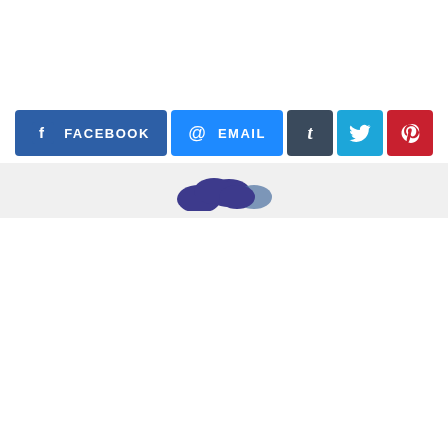[Figure (screenshot): Social sharing button bar with Facebook, Email, Tumblr, Twitter, and Pinterest buttons]
[Figure (logo): Partial logo/brand image in purple, wavy blob shape, visible in the footer bar]